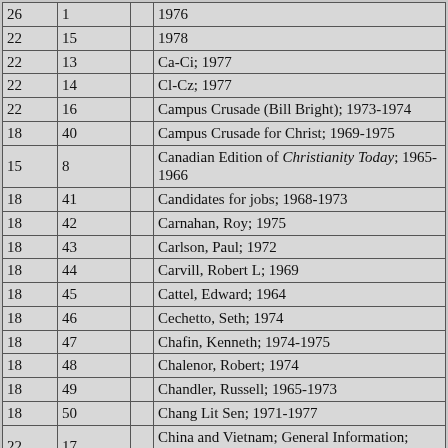| 26 | 1 |  | 1976 |
| 22 | 15 |  | 1978 |
| 22 | 13 |  | Ca-Ci; 1977 |
| 22 | 14 |  | Cl-Cz; 1977 |
| 22 | 16 |  | Campus Crusade (Bill Bright); 1973-1974 |
| 18 | 40 |  | Campus Crusade for Christ; 1969-1975 |
| 15 | 8 |  | Canadian Edition of Christianity Today; 1965-1966 |
| 18 | 41 |  | Candidates for jobs; 1968-1973 |
| 18 | 42 |  | Carnahan, Roy; 1975 |
| 18 | 43 |  | Carlson, Paul; 1972 |
| 18 | 44 |  | Carvill, Robert L; 1969 |
| 18 | 45 |  | Cattel, Edward; 1964 |
| 18 | 46 |  | Cechetto, Seth; 1974 |
| 18 | 47 |  | Chafin, Kenneth; 1974-1975 |
| 18 | 48 |  | Chalenor, Robert; 1974 |
| 18 | 49 |  | Chandler, Russell; 1965-1973 |
| 18 | 50 |  | Chang Lit Sen; 1971-1977 |
| 22 | 17 |  | China and Vietnam; General Information; 1966-1967 |